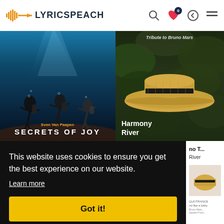LYRICSPEACH
[Figure (screenshot): LyricsPeach website screenshot showing album covers grid with an underwater diving scene 'Secrets of Joy by Sven Van Paapen' and 'Harmony River - Tribute to Bruno Mars' album with straw hat photo, and a cookie consent banner overlay reading 'This website uses cookies to ensure you get the best experience on our website. Learn more' with a 'Got it!' button.]
This website uses cookies to ensure you get the best experience on our website.
Learn more
Got it!